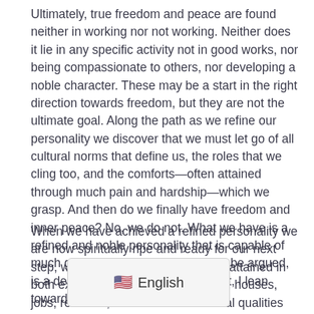Ultimately, true freedom and peace are found neither in working nor not working. Neither does it lie in any specific activity not in good works, nor being compassionate to others, nor developing a noble character. These may be a start in the right direction towards freedom, but they are not the ultimate goal. Along the path as we refine our personality we discover that we must let go of all cultural norms that define us, the roles that we cling too, and the comforts—often attained through much pain and hardship—which we grasp. And then do we finally have freedom and inner peace? No, we do not. What we have is a refined and noble personality that is capable of much good in the world. This, it may be argued, is a desirable goal in itself and in fact, I lean towards that opinion myself.
When we have achieved a refined personality we are now spiritually ripe and ready for our next step, which is to give up all we have attained in both external 'things' such as money, houses, jobs, relations, and in learned internal qualities such as being nice, patient, loving or spiritual. Oh my God, all that work for nothing, you might think. Actually, it was not for nothing. Firstly, you have more inne[r strength than whe]n you started the journey. Secondly, it is rare that [you have not ju]st done your preparatory work of digging up you[r ... and filling] yourself with positive thoughts and actions